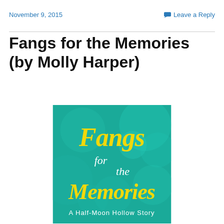November 9, 2015    Leave a Reply
Fangs for the Memories (by Molly Harper)
[Figure (illustration): Book cover for 'Fangs for the Memories: A Half-Moon Hollow Story' by Molly Harper. Teal/green bokeh background with yellow and white decorative script lettering.]